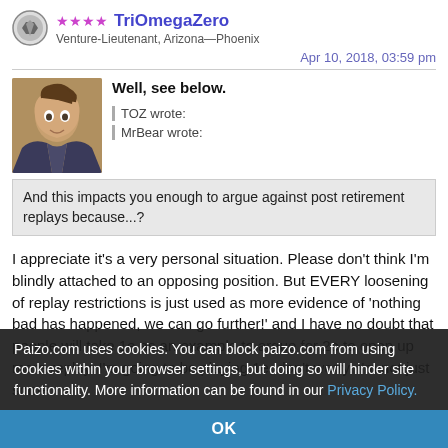TriOmegaZero — Venture-Lieutenant, Arizona—Phoenix
Apr 10, 2018, 03:59 pm
Well, see below.
TOZ wrote:
MrBear wrote:
And this impacts you enough to argue against post retirement replays because...?
I appreciate it's a very personal situation. Please don't think I'm blindly attached to an opposing position. But EVERY loosening of replay restrictions is just used as more evidence of 'nothing bad has happened, we can go further!' and I have no doubt that people will take 1e as an example to argue for 2e to open up more replay. I'm going to be playing 1e, don't worry. I'm not just some
Paizo.com uses cookies. You can block paizo.com from using cookies within your browser settings, but doing so will hinder site functionality. More information can be found in our Privacy Policy.
OK